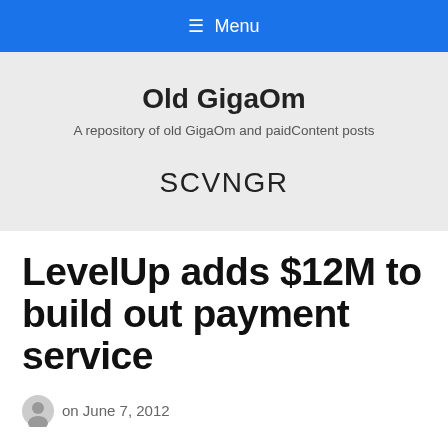≡ Menu
Old GigaOm
A repository of old GigaOm and paidContent posts
SCVNGR
LevelUp adds $12M to build out payment service
on June 7, 2012